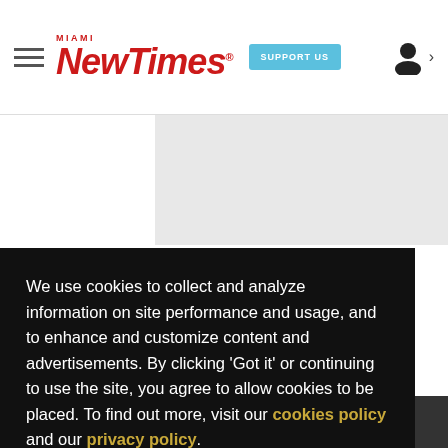Miami New Times | SUPPORT US
We use cookies to collect and analyze information on site performance and usage, and to enhance and customize content and advertisements. By clicking 'Got it' or continuing to use the site, you agree to allow cookies to be placed. To find out more, visit our cookies policy and our privacy policy.
Got it!